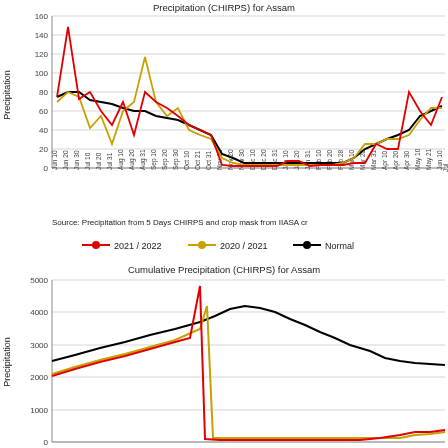[Figure (line-chart): 5-day CHIRPS precipitation for Assam showing three series: 2021/2022 (red), 2020/2021 (yellow), Normal (black). Values range from 0 to 160 on y-axis. X-axis spans Jun 10 through Jul (next year).]
Source: Precipitation from 5 Days CHIRPS and crop mask from IIASA cr
[Figure (line-chart): Cumulative 5-day CHIRPS precipitation for Assam showing three series: 2021/2022 (red), 2020/2021 (yellow), Normal (black). Y-axis from 0 to 5000. Shows cumulative values rising to ~4200 then resetting.]